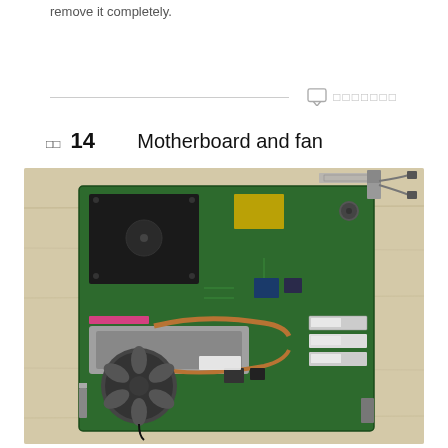remove it completely.
□□14    Motherboard and fan
[Figure (photo): Laptop motherboard with CPU heatsink and cooling fan, RAM slots, and various connectors, placed on a wooden surface. A detached cable assembly is visible in the upper right corner.]